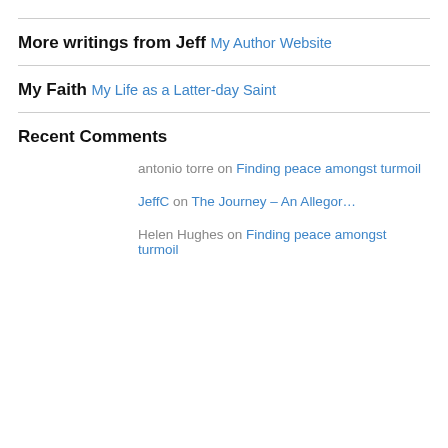More writings from Jeff
My Author Website
My Faith
My Life as a Latter-day Saint
Recent Comments
antonio torre on Finding peace amongst turmoil
JeffC on The Journey – An Allegor…
Helen Hughes on Finding peace amongst turmoil